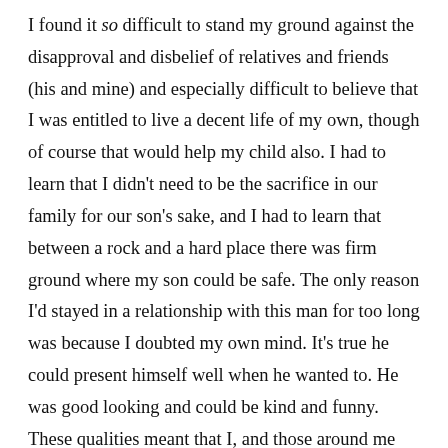I found it so difficult to stand my ground against the disapproval and disbelief of relatives and friends (his and mine) and especially difficult to believe that I was entitled to live a decent life of my own, though of course that would help my child also. I had to learn that I didn't need to be the sacrifice in our family for our son's sake, and I had to learn that between a rock and a hard place there was firm ground where my son could be safe. The only reason I'd stayed in a relationship with this man for too long was because I doubted my own mind. It's true he could present himself well when he wanted to. He was good looking and could be kind and funny. These qualities meant that I, and those around me minimised the seriousness of the situation I was in, as if it's not possible to be a violent man as well as a likeable one. Certainly, he could be charming, but he was mostly a complete dick and people around me knew this, and said so, but there is a strong societal impulse to disdain women as hysterical